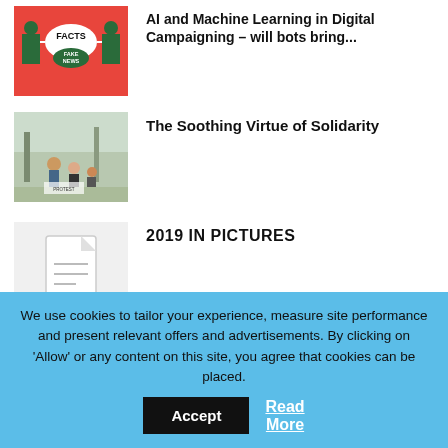[Figure (illustration): Facts vs Fake News illustration on red background]
AI and Machine Learning in Digital Campaigning – will bots bring...
[Figure (photo): Outdoor protest/solidarity scene with people]
The Soothing Virtue of Solidarity
[Figure (illustration): Document placeholder icon on light grey background]
2019 IN PICTURES
[Figure (photo): Blue sky photo - Rohingya crisis in Myanmar]
Rohingya crisis in Myanmar
We use cookies to tailor your experience, measure site performance and present relevant offers and advertisements. By clicking on 'Allow' or any content on this site, you agree that cookies can be placed.
Accept
Read More